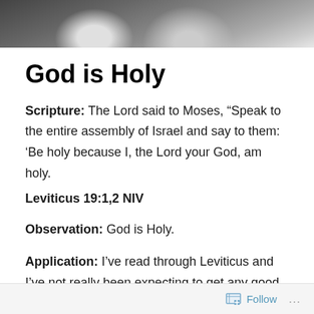[Figure (photo): Black and white photo strip showing people, partially visible at top of page]
God is Holy
Scripture: The Lord said to Moses, “Speak to the entire assembly of Israel and say to them: ‘Be holy because I, the Lord your God, am holy.
Leviticus 19:1,2 NIV
Observation: God is Holy.
Application: I’ve read through Leviticus and I’ve not really been expecting to get any good instruction from the book. For the most part it’s a book of “donts.”  Yesterday I had an occasion to sit and talk awhile with my  lead pastor and
Follow …